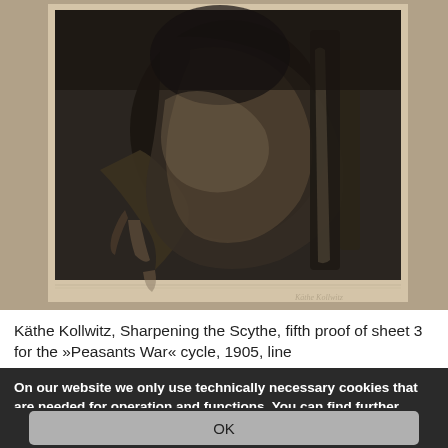[Figure (illustration): Black and white etching/lithograph showing a figure bending over, with prominent hands and draped clothing in a dark expressionist style. Faint signature visible at bottom right.]
Käthe Kollwitz, Sharpening the Scythe, fifth proof of sheet 3 for the »Peasants War« cycle, 1905, line
On our website we only use technically necessary cookies that are needed for operation and functions. You can find further information in our privacy policy.
OK